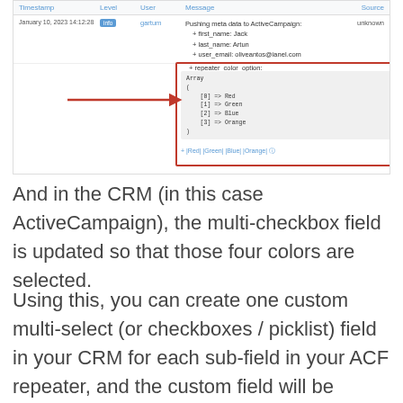[Figure (screenshot): Screenshot of a log/activity table showing a row with timestamp 'January 10, 2023 14:12:28', level badge 'info', user 'gartum', message 'Pushing meta data to ActiveCampaign' with sub-fields including first_name: Jack, last_name: Artun, user_email, and a repeater_color_option array showing [0]=>Red, [1]=>Green, [2]=>Blue, [3]=>Orange. An orange arrow points to a highlighted code block showing the array. At the bottom: |Red| |Green| |Blue| |Orange|. Source: unknown.]
And in the CRM (in this case ActiveCampaign), the multi-checkbox field is updated so that those four colors are selected.
Using this, you can create one custom multi-select (or checkboxes / picklist) field in your CRM for each sub-field in your ACF repeater, and the custom field will be updated with the combined values of the repeater sub-fields when the user's